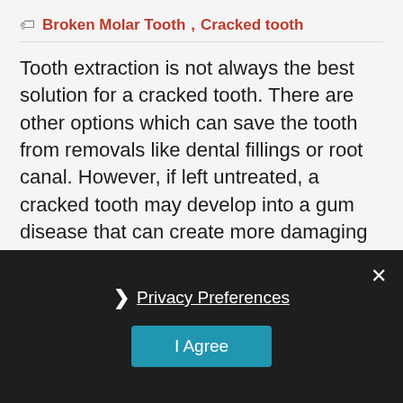Broken Molar Tooth, Cracked tooth
Tooth extraction is not always the best solution for a cracked tooth. There are other options which can save the tooth from removals like dental fillings or root canal. However, if left untreated, a cracked tooth may develop into a gum disease that can create more damaging effects. Bacterial infection may spread to your larynx, heart, or brains. So, understanding the possible causes plays a crucial role. You can prevent … More...
Privacy Preferences  I Agree